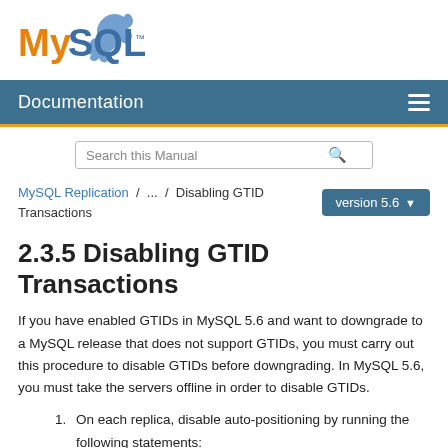[Figure (logo): MySQL logo with dolphin icon, 'My' in orange and 'SQL' in blue with trademark symbol]
Documentation
Search this Manual
MySQL Replication / ... / Disabling GTID Transactions
2.3.5 Disabling GTID Transactions
If you have enabled GTIDs in MySQL 5.6 and want to downgrade to a MySQL release that does not support GTIDs, you must carry out this procedure to disable GTIDs before downgrading. In MySQL 5.6, you must take the servers offline in order to disable GTIDs.
On each replica, disable auto-positioning by running the following statements: